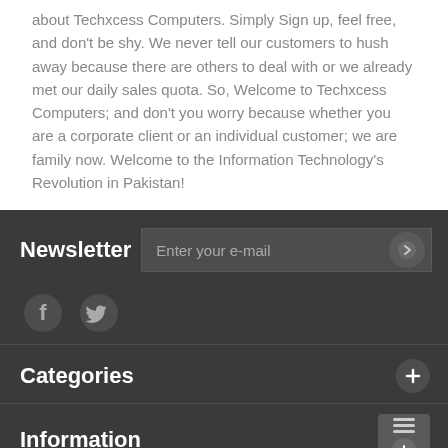about Techxcess Computers. Simply Sign up, feel free, and don't be shy. We never tell our customers to hush away because there are others to deal with or we already met our daily sales quota. So, Welcome to Techxcess Computers; and don't you worry because whether you are a corporate client or an individual customer; we are family now. Welcome to the Information Technology's Revolution in Pakistan!
Newsletter
Enter your e-mail
Categories
Information